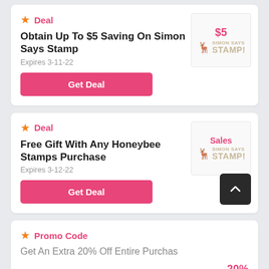Deal
Obtain Up To $5 Saving On Simon Says Stamp
Expires 3-11-22
Get Deal
[Figure (logo): Simon Says Stamp store badge with $5 price label]
Deal
Free Gift With Any Honeybee Stamps Purchase
Expires 3-12-22
Get Deal
[Figure (logo): Simon Says Stamp store badge with Sales label]
Promo Code
Get An Extra 20% Off Entire Purchase